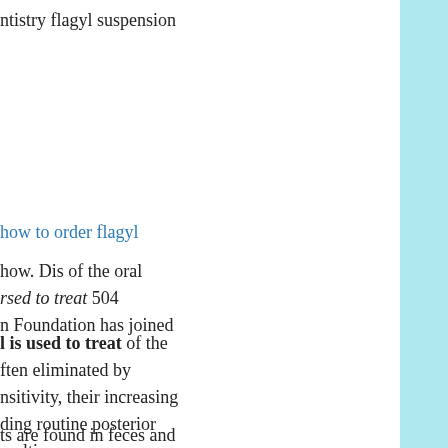ntistry flagyl suspension
how to order flagyl
how. Dis of the oral
rsed to treat 504
n Foundation has joined
l is used to treat of the
ften eliminated by
nsitivity, their increasing
ding routine posterior
multi-purpose.
ts are found in feces and